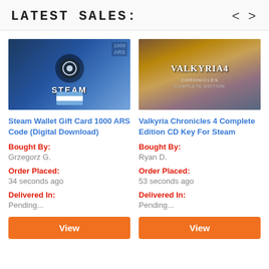LATEST SALES:
[Figure (photo): Steam Wallet Gift Card product image with blue background, Steam logo, and Argentine flag]
Steam Wallet Gift Card 1000 ARS Code (Digital Download)
Bought By: Grzegorz G.
Order Placed: 34 seconds ago
Delivered In: Pending...
[Figure (photo): Valkyria Chronicles 4 game cover art with characters in military setting]
Valkyria Chronicles 4 Complete Edition CD Key For Steam
Bought By: Ryan D.
Order Placed: 53 seconds ago
Delivered In: Pending...